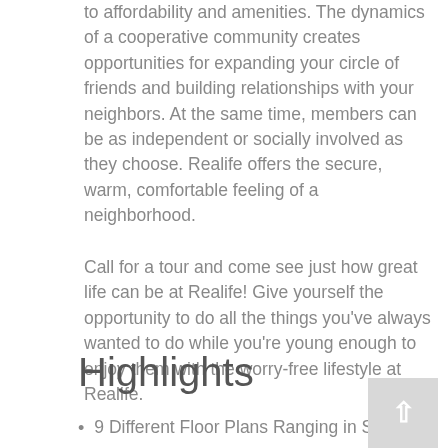to affordability and amenities. The dynamics of a cooperative community creates opportunities for expanding your circle of friends and building relationships with your neighbors. At the same time, members can be as independent or socially involved as they choose. Realife offers the secure, warm, comfortable feeling of a neighborhood.
Call for a tour and come see just how great life can be at Realife! Give yourself the opportunity to do all the things you've always wanted to do while you're young enough to enjoy them with the worry-free lifestyle at Realife.
Highlights
9 Different Floor Plans Ranging in Size